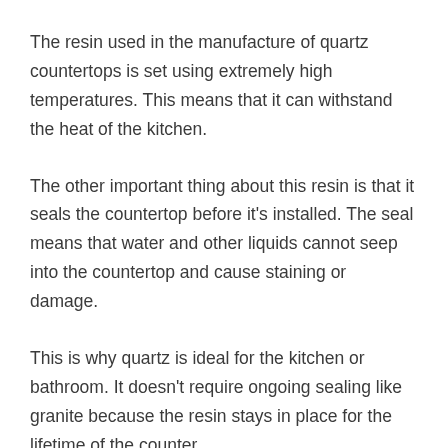The resin used in the manufacture of quartz countertops is set using extremely high temperatures. This means that it can withstand the heat of the kitchen.
The other important thing about this resin is that it seals the countertop before it's installed. The seal means that water and other liquids cannot seep into the countertop and cause staining or damage.
This is why quartz is ideal for the kitchen or bathroom. It doesn't require ongoing sealing like granite because the resin stays in place for the lifetime of the counter.
Quartz and Heat